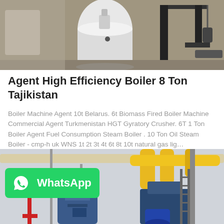[Figure (photo): Industrial boilers in a warehouse setting — a white cylindrical boiler and dark machinery on the left, and a black metal frame/stand on the right, on a concrete floor.]
Agent High Efficiency Boiler 8 Ton Tajikistan
Boiler Machine Agent 10t Belarus. 6t Biomass Fired Boiler Machine Commercial Agent Turkmenistan HGT Gyratory Crusher. 6T 1 Ton Boiler Agent Fuel Consumption Steam Boiler . 10 Ton Oil Steam Boiler - cmp-h uk WNS 1t 2t 3t 4t 6t 8t 10t natural gas lig…
Get Price
[Figure (photo): Industrial boiler room interior with blue boiler units, yellow piping overhead, red gas lines, scaffolding and machinery.]
[Figure (logo): WhatsApp badge — green background with WhatsApp phone icon and text 'WhatsApp' in white.]